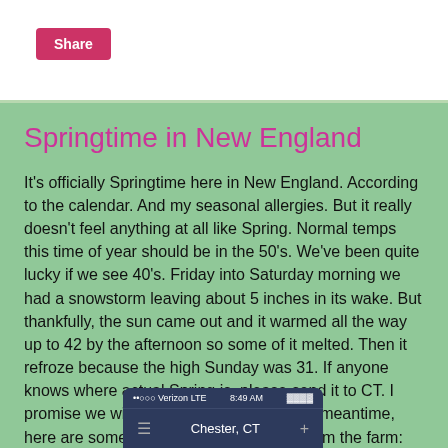Share
Springtime in New England
It's officially Springtime here in New England. According to the calendar. And my seasonal allergies. But it really doesn't feel anything at all like Spring. Normal temps this time of year should be in the 50's. We've been quite lucky if we see 40's. Friday into Saturday morning we had a snowstorm leaving about 5 inches in its wake. But thankfully, the sun came out and it warmed all the way up to 42 by the afternoon so some of it melted. Then it refroze because the high Sunday was 31. If anyone knows where actual Spring is, please send it to CT. I promise we will be very hospitable! In the meantime, here are some gorgeous spring photos from the farm:
[Figure (screenshot): Smartphone screen showing Verizon LTE, 8:49 AM, Chester CT weather app]